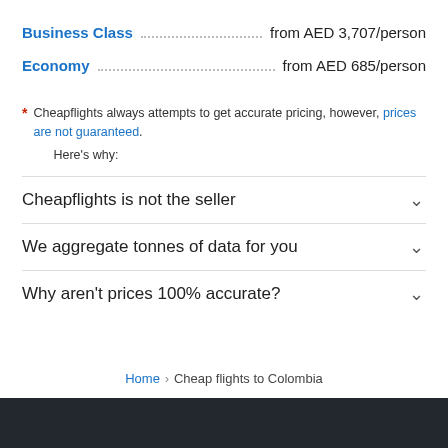Business Class ................................. from AED 3,707/person
Economy ................................. from AED 685/person
* Cheapflights always attempts to get accurate pricing, however, prices are not guaranteed.
Here's why:
Cheapflights is not the seller
We aggregate tonnes of data for you
Why aren't prices 100% accurate?
Home › Cheap flights to Colombia